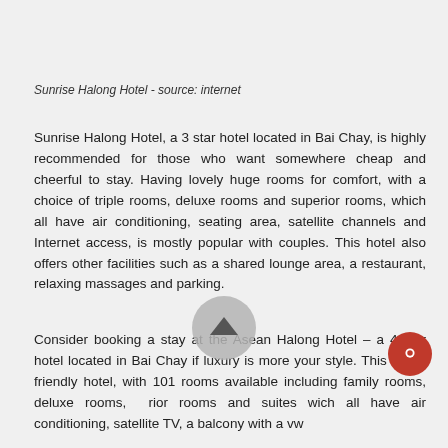Sunrise Halong Hotel - source: internet
Sunrise Halong Hotel, a 3 star hotel located in Bai Chay, is highly recommended for those who want somewhere cheap and cheerful to stay. Having lovely huge rooms for comfort, with a choice of triple rooms, deluxe rooms and superior rooms, which all have air conditioning, seating area, satellite channels and Internet access, is mostly popular with couples. This hotel also offers other facilities such as a shared lounge area, a restaurant, relaxing massages and parking.
Consider booking a stay at the Asean Halong Hotel – a 4 star hotel located in Bai Chay if luxury is more your style. This lovely friendly hotel, with 101 rooms available including family rooms, deluxe rooms, prior rooms and suites which all have air conditioning, satellite TV, a balcony with a view and similar amenities for the hotel being four stars. This hotel...